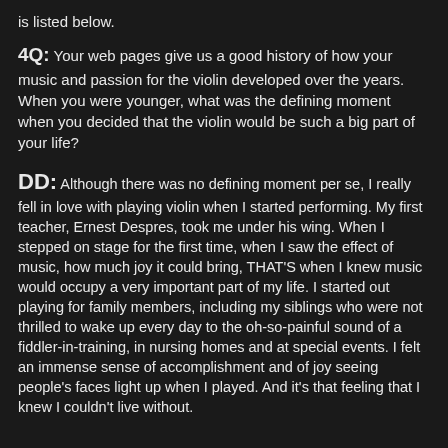is listed below.
4Q: Your web pages give us a good history of how your music and passion for the violin developed over the years. When you were younger, what was the defining moment when you decided that the violin would be such a big part of your life?
DD: Although there was no defining moment per se, I really fell in love with playing violin when I started performing. My first teacher, Ernest Despres, took me under his wing. When I stepped on stage for the first time, when I saw the effect of music, how much joy it could bring, THAT’S when I knew music would occupy a very important part of my life. I started out playing for family members, including my siblings who were not thrilled to wake up every day to the oh-so-painful sound of a fiddler-in-training, in nursing homes and at special events. I felt an immense sense of accomplishment and of joy seeing people’s faces light up when I played. And it’s that feeling that I knew I couldn’t live without.